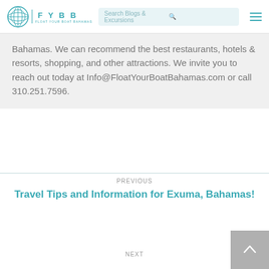FYBB | Search Blogs & Excursions
Bahamas. We can recommend the best restaurants, hotels & resorts, shopping, and other attractions. We invite you to reach out today at Info@FloatYourBoatBahamas.com or call 310.251.7596.
PREVIOUS
Travel Tips and Information for Exuma, Bahamas!
NEXT